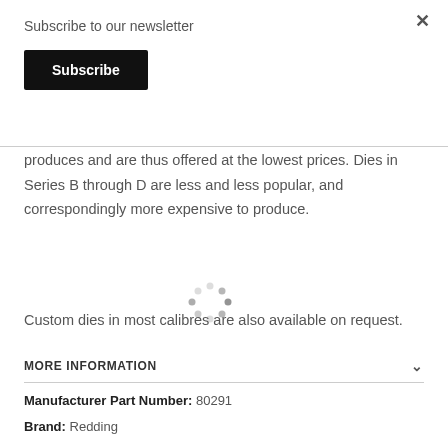Subscribe to our newsletter
Subscribe
produces and are thus offered at the lowest prices. Dies in Series B through D are less and less popular, and correspondingly more expensive to produce.
[Figure (other): Loading spinner animation dots]
Custom dies in most calibres are also available on request.
MORE INFORMATION
Manufacturer Part Number:  80291
Brand:  Redding
Shipping Weight (Kg):  1
SKU:  RED-80291